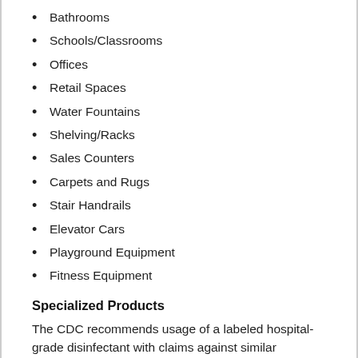Bathrooms
Schools/Classrooms
Offices
Retail Spaces
Water Fountains
Shelving/Racks
Sales Counters
Carpets and Rugs
Stair Handrails
Elevator Cars
Playground Equipment
Fitness Equipment
Specialized Products
The CDC recommends usage of a labeled hospital-grade disinfectant with claims against similar pathogens to the coronavirus. Multiple products in the SERVPRO product line carry the EPA-approved emerging pathogens claims. While there is currently no product tested against this particular strain of the coronavirus, we are following all guidelines as provided by the CDC and local authorities.
Call Today for a Proactive Cleaning